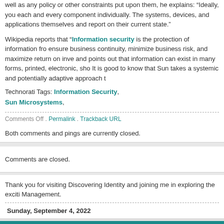well as any policy or other constraints put upon them, he explains: "Ideally, you each and every component individually. The systems, devices, and applications themselves and report on their current state."
Wikipedia reports that "Information security is the protection of information from ensure business continuity, minimize business risk, and maximize return on inve and points out that information can exist in many forms, printed, electronic, sho It is good to know that Sun takes a systemic and potentially adaptive approach t
Technorati Tags: Information Security, Sun Microsystems,
Comments Off . Permalink . Trackback URL
Both comments and pings are currently closed.
Comments are closed.
Thank you for visiting Discovering Identity and joining me in exploring the exciti Management.
Sunday, September 4, 2022
Copyright © 2005-2016, Mark G. Dixon. All Rights Powered by WordPress.